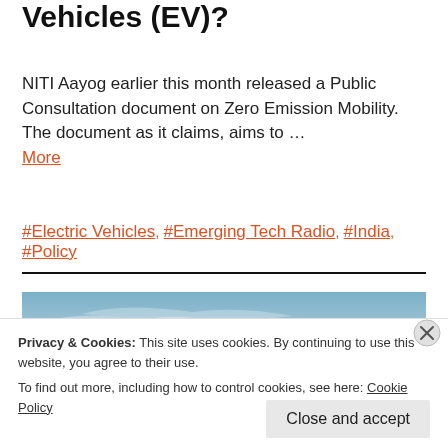Vehicles (EV)?
NITI Aayog earlier this month released a Public Consultation document on Zero Emission Mobility. The document as it claims, aims to … More
#Electric Vehicles, #Emerging Tech Radio, #India, #Policy
[Figure (photo): Sky with wispy clouds, light blue sky]
Privacy & Cookies: This site uses cookies. By continuing to use this website, you agree to their use.
To find out more, including how to control cookies, see here: Cookie Policy